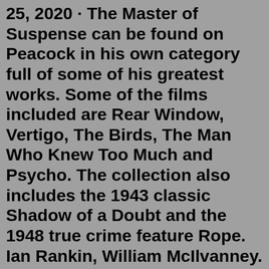25, 2020 · The Master of Suspense can be found on Peacock in his own category full of some of his greatest works. Some of the films included are Rear Window, Vertigo, The Birds, The Man Who Knew Too Much and Psycho. The collection also includes the 1943 classic Shadow of a Doubt and the 1948 true crime feature Rope. Ian Rankin, William McIlvanney. £20.00 £17.99. Hardback. Out of stock. McIlvanney's pioneering Laidlaw series of crime novels proved an immense inspiration to Ian Rankin and now the creator of Rebus completes his idol's last, unfinished novel - and Laidlaw's origin story - in reverent yet typically compelling prose.The National Enquirer became popular when it printed gruesome details from criminal cases, and the macabre appeal of not only learning about horrific crimes, but also examining the psychology of...Money Heist (2017-2021) Cast: Úrsula Corberó, Álvaro Morte, Itziar Ituño, Pedro Alonso, Alba Flores. Possibly one of Netflix's most successful shows ever, Money Heist (or La Casa de Papel as ...2 days ago · The Undeclared